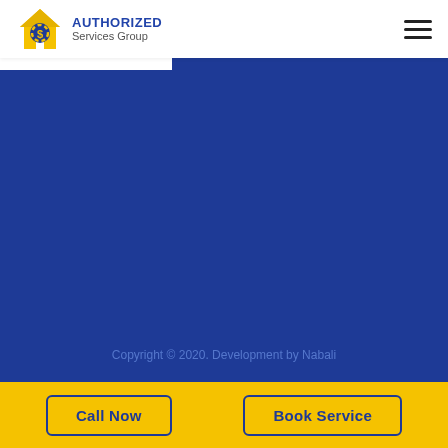[Figure (logo): Authorized Services Group logo — house icon with gears and dollar sign in yellow/blue, text AUTHORIZED Services Group]
[Figure (other): Hamburger menu icon (three horizontal lines)]
[Figure (other): Large blue background area filling the main content region]
Copyright © 2020. Development by Nabali
Call Now
Book Service